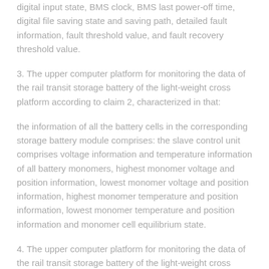digital input state, BMS clock, BMS last power-off time, digital file saving state and saving path, detailed fault information, fault threshold value, and fault recovery threshold value.
3. The upper computer platform for monitoring the data of the rail transit storage battery of the light-weight cross platform according to claim 2, characterized in that:
the information of all the battery cells in the corresponding storage battery module comprises: the slave control unit comprises voltage information and temperature information of all battery monomers, highest monomer voltage and position information, lowest monomer voltage and position information, highest monomer temperature and position information, lowest monomer temperature and position information and monomer cell equilibrium state.
4. The upper computer platform for monitoring the data of the rail transit storage battery of the light-weight cross platform according to claim 1, characterized in that: the basic display unit includes: the system comprises a thread module, a single body display module, a single board